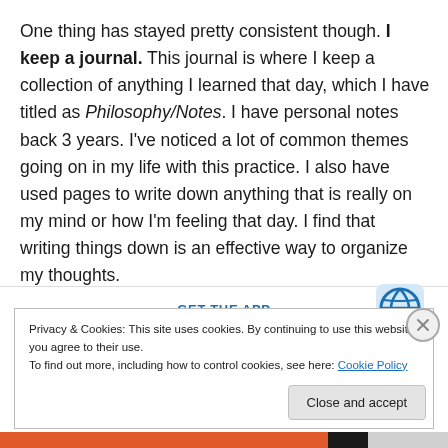One thing has stayed pretty consistent though. I keep a journal. This journal is where I keep a collection of anything I learned that day, which I have titled as Philosophy/Notes. I have personal notes back 3 years. I've noticed a lot of common themes going on in my life with this practice. I also have used pages to write down anything that is really on my mind or how I'm feeling that day. I find that writing things down is an effective way to organize my thoughts.
GET THE APP
Privacy & Cookies: This site uses cookies. By continuing to use this website, you agree to their use.
To find out more, including how to control cookies, see here: Cookie Policy
Close and accept